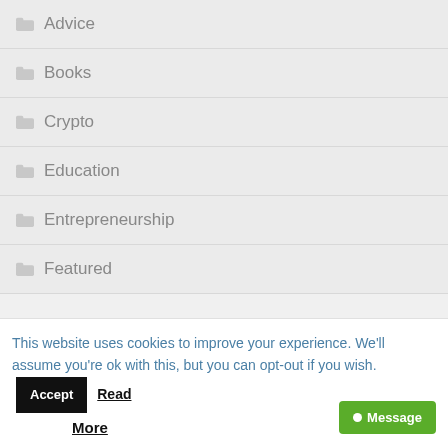Advice
Books
Crypto
Education
Entrepreneurship
Featured
This website uses cookies to improve your experience. We'll assume you're ok with this, but you can opt-out if you wish. Accept Read More Message